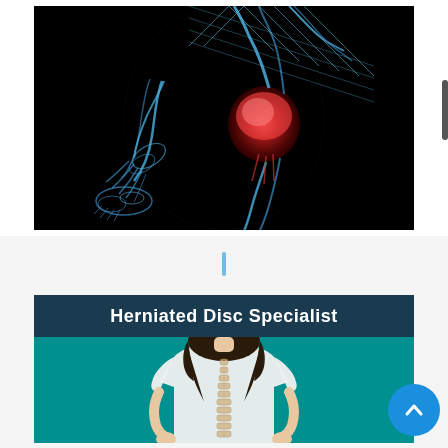[Figure (photo): X-ray style medical illustration of a running human figure with a glowing red knee joint highlighted against a black background, showing skeletal structure in blue translucent tones.]
[Figure (photo): A section card for 'Herniated Disc Specialist' showing a woman in a white t-shirt viewed from behind with hands on hips, spine illustrated/visible on her back, against a teal/turquoise background. Card has a dark navy header bar with bold white title text.]